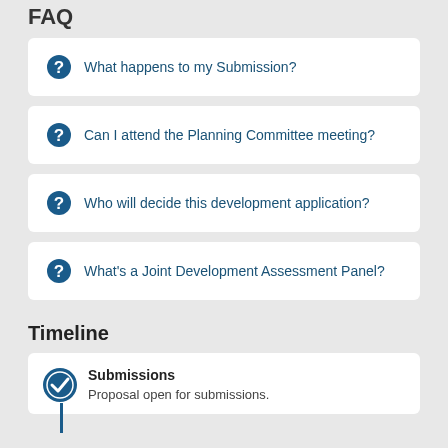FAQ
What happens to my Submission?
Can I attend the Planning Committee meeting?
Who will decide this development application?
What's a Joint Development Assessment Panel?
Timeline
Submissions
Proposal open for submissions.